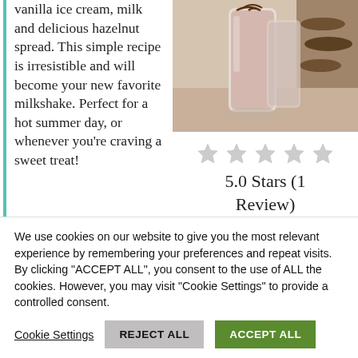vanilla ice cream, milk and delicious hazelnut spread. This simple recipe is irresistible and will become your new favorite milkshake. Perfect for a hot summer day, or whenever you're craving a sweet treat!
[Figure (photo): A milkshake in a tall glass with chocolate drizzle on top, with cookies/donuts in the background on a wooden surface]
[Figure (other): Five grey star rating icons in a row]
5.0 Stars (1 Review)
PREP TIME
5 minutes
PRINT
We use cookies on our website to give you the most relevant experience by remembering your preferences and repeat visits. By clicking "ACCEPT ALL", you consent to the use of ALL the cookies. However, you may visit "Cookie Settings" to provide a controlled consent.
Cookie Settings
REJECT ALL
ACCEPT ALL